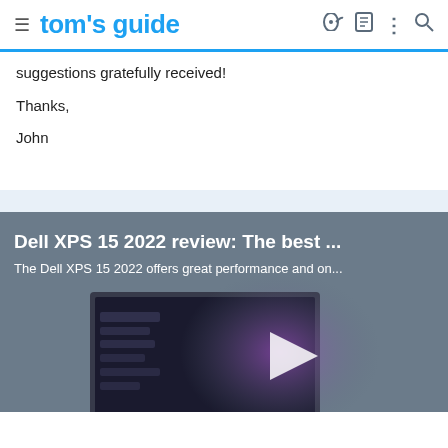tom's guide
suggestions gratefully received!
Thanks,
John
[Figure (screenshot): Dell XPS 15 2022 review video thumbnail embedded in Tom's Guide webpage, showing a dark laptop screen with purple glow and a play button in the center. Title reads: Dell XPS 15 2022 review: The best ... Subtitle: The Dell XPS 15 2022 offers great performance and on...]